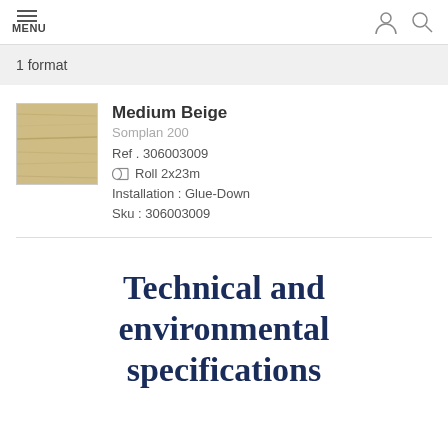MENU
1 format
Medium Beige
Somplan 200
Ref . 306003009
Roll 2x23m
Installation : Glue-Down
Sku : 306003009
Technical and environmental specifications